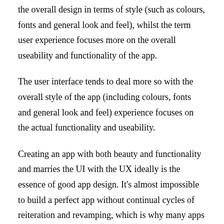the overall design in terms of style (such as colours, fonts and general look and feel), whilst the term user experience focuses more on the overall useability and functionality of the app.
The user interface tends to deal more so with the overall style of the app (including colours, fonts and general look and feel) experience focuses on the actual functionality and useability.
Creating an app with both beauty and functionality and marries the UI with the UX ideally is the essence of good app design. It’s almost impossible to build a perfect app without continual cycles of reiteration and revamping, which is why many apps are constantly updating to suit the needs and wants of their clients. As your customers/users grow, you’ll want your app to follow suit.